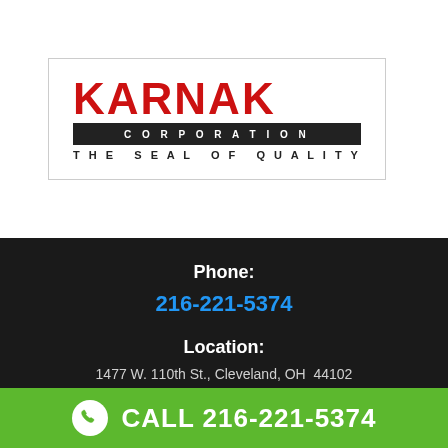[Figure (logo): Karnak Corporation logo — red bold KARNAK text, black bar with CORPORATION in white letters, tagline THE SEAL OF QUALITY below]
Phone:
216-221-5374
Location:
1477 W. 110th St., Cleveland, OH  44102
CALL 216-221-5374